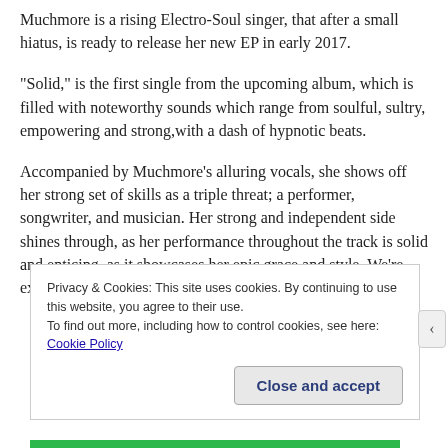Muchmore is a rising Electro-Soul singer, that after a small hiatus, is ready to release her new EP in early 2017.
“Solid,” is the first single from the upcoming album, which is filled with noteworthy sounds which range from soulful, sultry, empowering and strong,with a dash of hypnotic beats.
Accompanied by Muchmore’s alluring vocals, she shows off her strong set of skills as a triple threat; a performer, songwriter, and musician. Her strong and independent side shines through, as her performance throughout the track is solid and enticing, as it showcases her epic grace and style. We’re excited to
Privacy & Cookies: This site uses cookies. By continuing to use this website, you agree to their use.
To find out more, including how to control cookies, see here: Cookie Policy